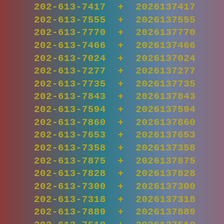202-613-7417  +  2026137417
202-613-7555  +  2026137555
202-613-7770  +  2026137770
202-613-7466  +  2026137466
202-613-7024  +  2026137024
202-613-7277  +  2026137277
202-613-7735  +  2026137735
202-613-7843  +  2026137843
202-613-7594  +  2026137594
202-613-7860  +  2026137860
202-613-7653  +  2026137653
202-613-7358  +  2026137358
202-613-7875  +  2026137875
202-613-7828  +  2026137828
202-613-7300  +  2026137300
202-613-7318  +  2026137318
202-613-7889  +  2026137889
202-613-7510  +  2026137510
202-613-7222  +  2026137222
202-613-7564  +  2026137564
202-613-7112  +  2026137112
202-613-7043  +  2026137043
202-613-7088  +  2026137088